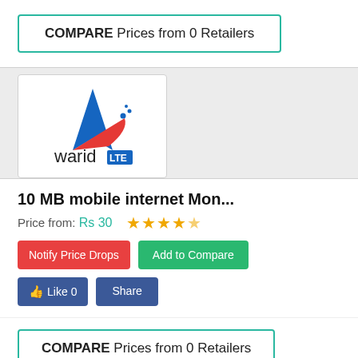COMPARE Prices from 0 Retailers
[Figure (logo): Warid LTE logo with blue arrow/rocket icon and 'waridLTE' text]
10 MB mobile internet Mon...
Price from: Rs 30
★★★★★
Notify Price Drops
Add to Compare
Like 0
Share
COMPARE Prices from 0 Retailers
[Figure (logo): Warid LTE logo partial (top blue arrow visible)]
[Figure (other): Green envelope/mail icon button]